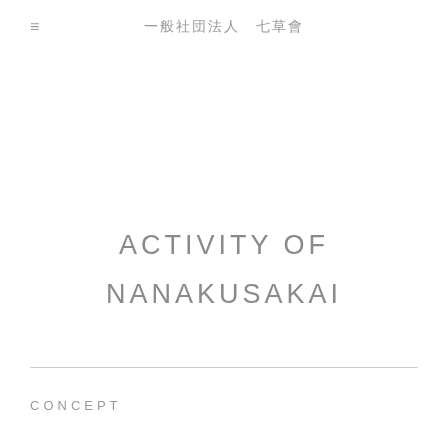≡  一般社団法人 七草會
ACTIVITY OF NANAKUSAKAI
CONCEPT